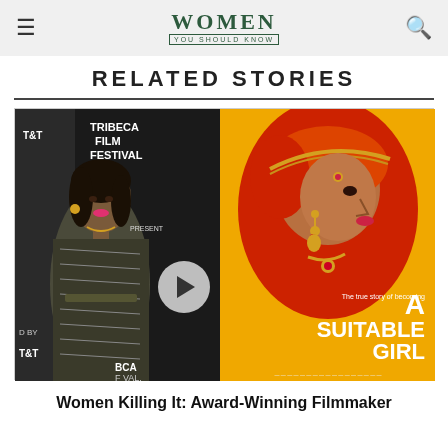WOMEN YOU SHOULD KNOW
RELATED STORIES
[Figure (photo): Left: Woman at Tribeca Film Festival event backdrop, with play button overlay. Right: Movie poster for 'A Suitable Girl' showing a woman in red sari and gold jewelry on an orange/yellow background.]
Women Killing It: Award-Winning Filmmaker